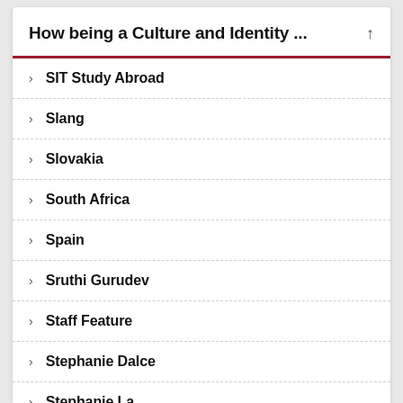How being a Culture and Identity ...
SIT Study Abroad
Slang
Slovakia
South Africa
Spain
Sruthi Gurudev
Staff Feature
Stephanie Dalce
Stephanie La
Stephanie Solomont